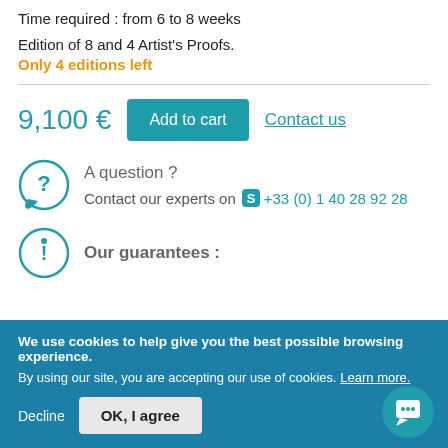Time required : from 6 to 8 weeks
Edition of 8 and 4 Artist's Proofs.
Only 4 editions left
9,100 €  Add to cart  Contact us
A question ?  Contact our experts on  +33 (0) 1 40 28 92 28
Our guarantees :
We use cookies to help give you the best possible browsing experience. By using our site, you are accepting our use of cookies. Learn more.
Decline  OK, I agree